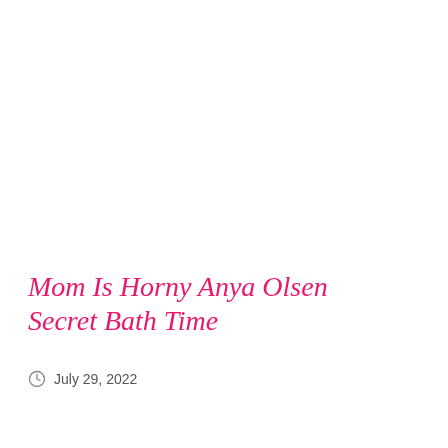Mom Is Horny Anya Olsen Secret Bath Time
July 29, 2022